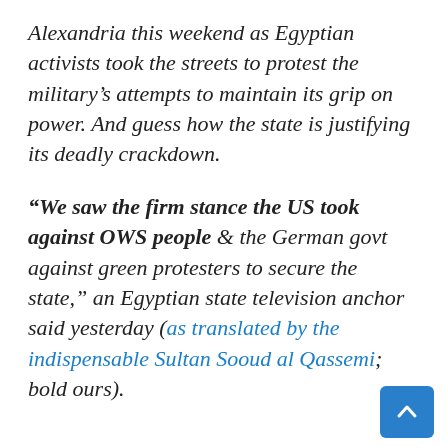Alexandria this weekend as Egyptian activists took the streets to protest the military's attempts to maintain its grip on power. And guess how the state is justifying its deadly crackdown.
“We saw the firm stance the US took against OWS people & the German govt against green protesters to secure the state,” an Egyptian state television anchor said yesterday (as translated by the indispensable Sultan Sooud al Qassemi; bold ours).